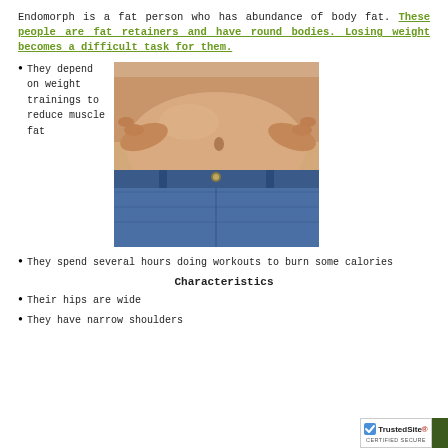Endomorph is a fat person who has abundance of body fat. These people are fat retainers and have round bodies. Losing weight becomes a difficult task for them.
They depend on weight trainings to reduce muscle fat
[Figure (photo): Close-up photo of a person with abdominal fat, pinching their midsection, wearing jeans]
They spend several hours doing workouts to burn some calories
Characteristics
Their hips are wide
They have narrow shoulders